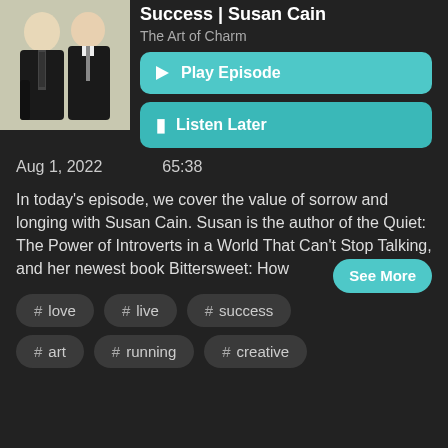[Figure (photo): Photo of two men in dark clothing on a light background]
Success | Susan Cain
The Art of Charm
▶ Play Episode
🔖 Listen Later
Aug 1, 2022    65:38
In today's episode, we cover the value of sorrow and longing with Susan Cain. Susan is the author of the Quiet: The Power of Introverts in a World That Can't Stop Talking, and her newest book Bittersweet: How
See More
# love
# live
# success
# art
# running
# creative